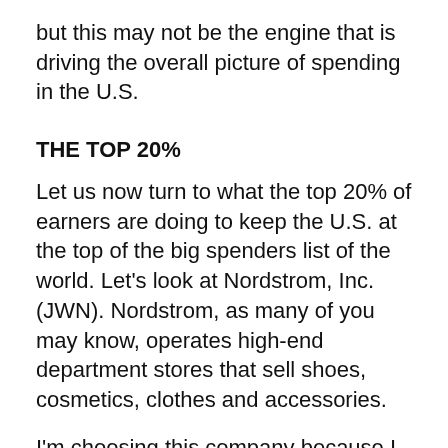but this may not be the engine that is driving the overall picture of spending in the U.S.
THE TOP 20%
Let us now turn to what the top 20% of earners are doing to keep the U.S. at the top of the big spenders list of the world. Let's look at Nordstrom, Inc. (JWN). Nordstrom, as many of you may know, operates high-end department stores that sell shoes, cosmetics, clothes and accessories.
I'm choosing this company because I think it represents where the top 20% of earners in this country spend. If the top 20% of earners in this country are spending it will most likely